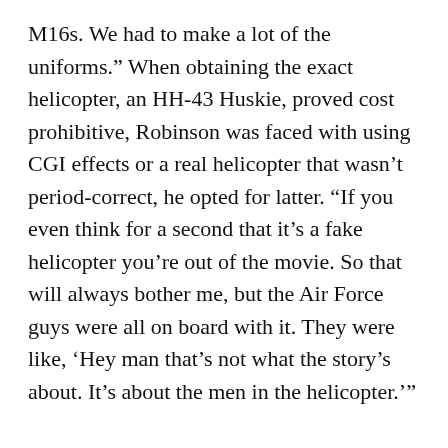M16s. We had to make a lot of the uniforms.” When obtaining the exact helicopter, an HH-43 Huskie, proved cost prohibitive, Robinson was faced with using CGI effects or a real helicopter that wasn’t period-correct, he opted for latter. “If you even think for a second that it’s a fake helicopter you’re out of the movie. So that will always bother me, but the Air Force guys were all on board with it. They were like, ‘Hey man that’s not what the story’s about. It’s about the men in the helicopter.’”
“The Last Full Measure” was filmed in locations including Thailand and Atlanta, with a reported $20 million budget. Roadside Attractions.